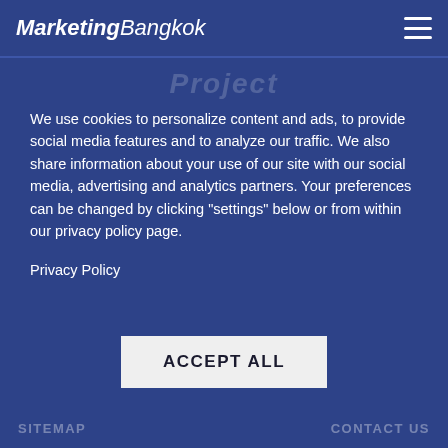MarketingBangkok
Project
We use cookies to personalize content and ads, to provide social media features and to analyze our traffic. We also share information about your use of our site with our social media, advertising and analytics partners. Your preferences can be changed by clicking "settings" below or from within our privacy policy page.
Privacy Policy
ACCEPT ALL
SITEMAP   CONTACT US